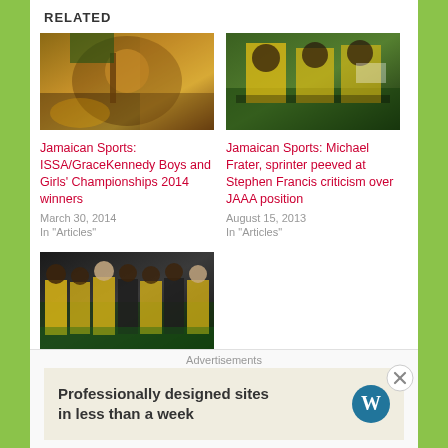RELATED
[Figure (photo): Jamaican sports fan or athlete at a competition, crowd in background, yellow and green colors]
Jamaican Sports: ISSA/GraceKennedy Boys and Girls' Championships 2014 winners
March 30, 2014
In "Articles"
[Figure (photo): Jamaican sprinters in green and yellow uniforms posing together]
Jamaican Sports: Michael Frater, sprinter peeved at Stephen Francis criticism over JAAA position
August 15, 2013
In "Articles"
[Figure (photo): Group of people in black and yellow Jamaican-themed clothing posing outdoors]
Jamaica Olympics:
Advertisements
Professionally designed sites in less than a week